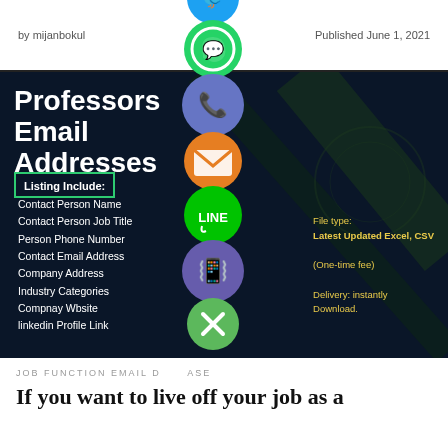by mijanbokul   Published June 1, 2021
[Figure (infographic): Professors Email Addresses infographic on dark navy background listing: Contact Person Name, Contact Person Job Title, Person Phone Number, Contact Email Address, Company Address, Industry Categories, Company Website, LinkedIn Profile Link. Right side: File type: Latest Updated Excel, CSV (One-time fee) Delivery: instantly Download.]
JOB FUNCTION EMAIL DATABASE
If you want to live off your job as a